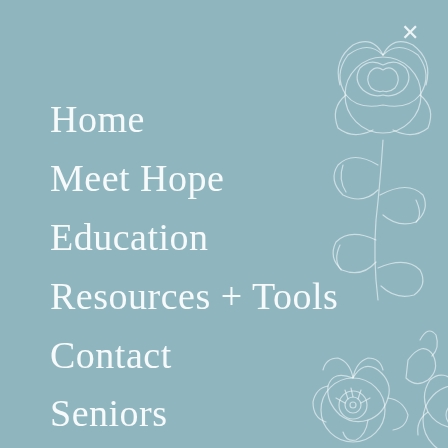[Figure (illustration): White line-art floral illustration (roses and leaves) in the right half of the page on a muted blue-gray background]
×
Home
Meet Hope
Education
Resources + Tools
Contact
Seniors